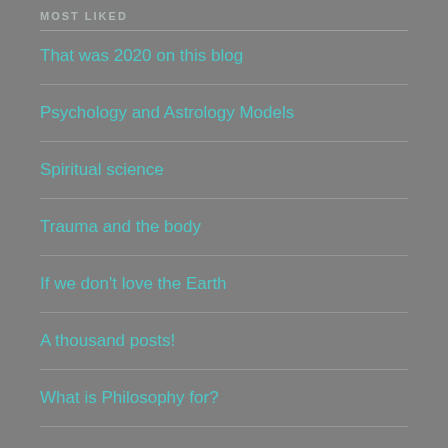MOST LIKED
That was 2020 on this blog
Psychology and Astrology Models
Spiritual science
Trauma and the body
If we don't love the Earth
A thousand posts!
What is Philosophy for?
The Bake Cake Saga